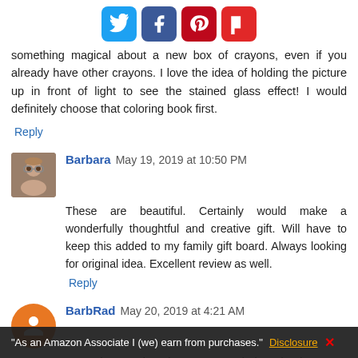[Figure (other): Row of four social media share buttons: Twitter (blue), Facebook (dark blue), Pinterest (red), Flipboard (red)]
something magical about a new box of crayons, even if you already have other crayons. I love the idea of holding the picture up in front of light to see the stained glass effect! I would definitely choose that coloring book first.
Reply
Barbara  May 19, 2019 at 10:50 PM
These are beautiful. Certainly would make a wonderfully thoughtful and creative gift. Will have to keep this added to my family gift board. Always looking for original idea. Excellent review as well.
Reply
BarbRad  May 20, 2019 at 4:21 AM
I've always thought Dover coloring books were wonderful. I used to sell them at conferences for homeschoolers, and the quality was amazing for the price.
"As an Amazon Associate I (we) earn from purchases." Disclosure ✕